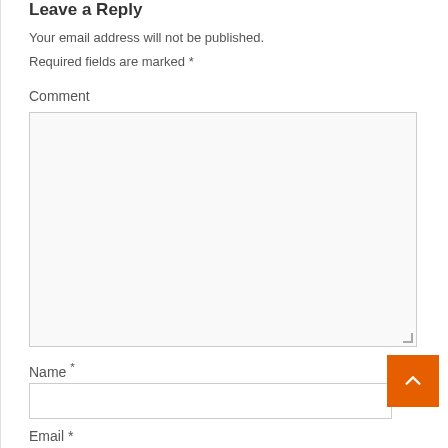Leave a Reply
Your email address will not be published.
Required fields are marked *
Comment
[Figure (screenshot): Large comment text area input box with light gray background and border, with a resize handle at the bottom right corner]
Name *
[Figure (screenshot): Name text input field, single line, white background with border]
Email *